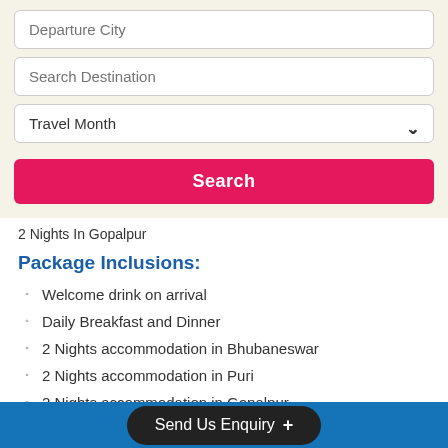[Figure (screenshot): Search form with Departure City text input, Search Destination text input, Travel Month dropdown, and a pink Search button]
2 Nights In Gopalpur
Package Inclusions:
Welcome drink on arrival
Daily Breakfast and Dinner
2 Nights accommodation in Bhubaneswar
2 Nights accommodation in Puri
2 Nights accommodation in Gopalpur
View More Details...
Customize This Package
Send Us Enquiry +